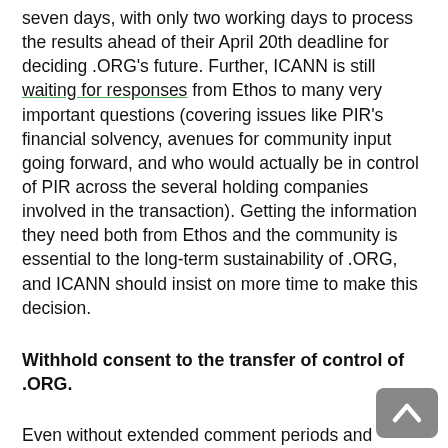seven days, with only two working days to process the results ahead of their April 20th deadline for deciding .ORG's future. Further, ICANN is still waiting for responses from Ethos to many very important questions (covering issues like PIR's financial solvency, avenues for community input going forward, and who would actually be in control of PIR across the several holding companies involved in the transaction). Getting the information they need both from Ethos and the community is essential to the long-term sustainability of .ORG, and ICANN should insist on more time to make this decision.
Withhold consent to the transfer of control of .ORG.
Even without extended comment periods and additional information, though, ICANN already has all it needs to reject this deal. Simply put, this is an underhanded and dangerous deal that puts all of us at risk, and ICANN should stop it. After several rounds of empty concessions from Ethos, and their continued failure to produce essential information about how the deal is structured, it is very clear that there is no